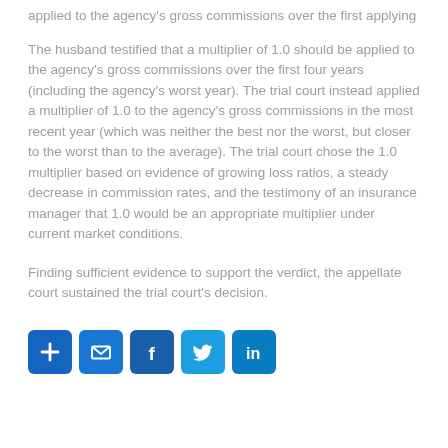… applied to the agency's gross commissions over the first applying …
The husband testified that a multiplier of 1.0 should be applied to the agency's gross commissions over the first four years (including the agency's worst year). The trial court instead applied a multiplier of 1.0 to the agency's gross commissions in the most recent year (which was neither the best nor the worst, but closer to the worst than to the average). The trial court chose the 1.0 multiplier based on evidence of growing loss ratios, a steady decrease in commission rates, and the testimony of an insurance manager that 1.0 would be an appropriate multiplier under current market conditions.
Finding sufficient evidence to support the verdict, the appellate court sustained the trial court's decision.
[Figure (infographic): Social sharing buttons: add/bookmark, email, Facebook, Twitter, LinkedIn]